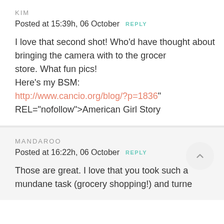KIM
Posted at 15:39h, 06 October  REPLY
I love that second shot! Who'd have thought about bringing the camera with to the grocery store. What fun pics!
Here's my BSM:
http://www.cancio.org/blog/?p=1836"
REL="nofollow">American Girl Story
MANDAROO
Posted at 16:22h, 06 October  REPLY
Those are great. I love that you took such a mundane task (grocery shopping!) and turne